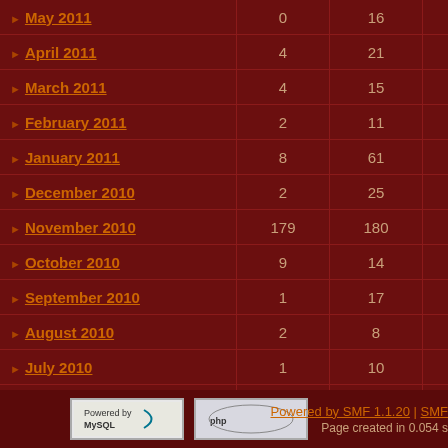| Month | Col2 | Col3 | Col4 |
| --- | --- | --- | --- |
| May 2011 | 0 | 16 | 1 |
| April 2011 | 4 | 21 | 1 |
| March 2011 | 4 | 15 | 4 |
| February 2011 | 2 | 11 | 2 |
| January 2011 | 8 | 61 | 3 |
| December 2010 | 2 | 25 | 2 |
| November 2010 | 179 | 180 | 1 |
| October 2010 | 9 | 14 | 1 |
| September 2010 | 1 | 17 |  |
| August 2010 | 2 | 8 |  |
| July 2010 | 1 | 10 |  |
| June 2010 | 2 | 18 |  |
| May 2010 | 3 | 61 |  |
| April 2010 | 10 | 66 | 1 |
| March 2010 | 3 | 4 |  |
Powered by SMF 1.1.20 | SMF  Page created in 0.054 s